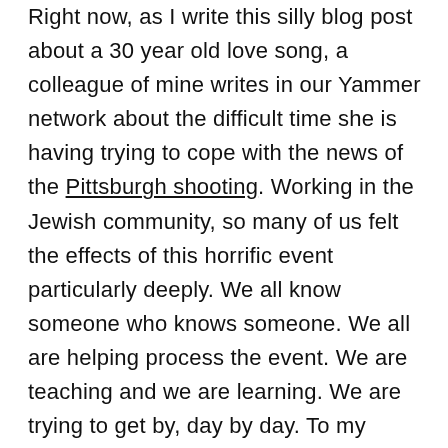Right now, as I write this silly blog post about a 30 year old love song, a colleague of mine writes in our Yammer network about the difficult time she is having trying to cope with the news of the Pittsburgh shooting. Working in the Jewish community, so many of us felt the effects of this horrific event particularly deeply. We all know someone who knows someone. We all are helping process the event. We are teaching and we are learning. We are trying to get by, day by day. To my colleagues, to my friends, to my family, to my community I offer you this prayer. I offer you these words. I offer you my support.